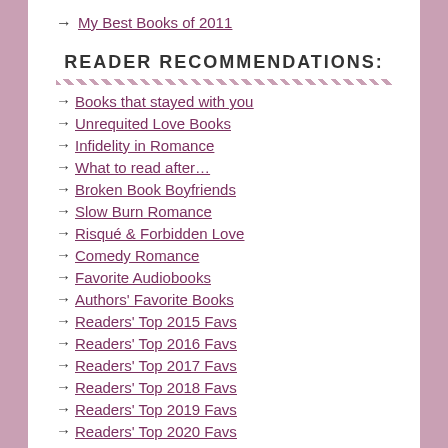My Best Books of 2011
READER RECOMMENDATIONS:
Books that stayed with you
Unrequited Love Books
Infidelity in Romance
What to read after…
Broken Book Boyfriends
Slow Burn Romance
Risqué & Forbidden Love
Comedy Romance
Favorite Audiobooks
Authors' Favorite Books
Readers' Top 2015 Favs
Readers' Top 2016 Favs
Readers' Top 2017 Favs
Readers' Top 2018 Favs
Readers' Top 2019 Favs
Readers' Top 2020 Favs